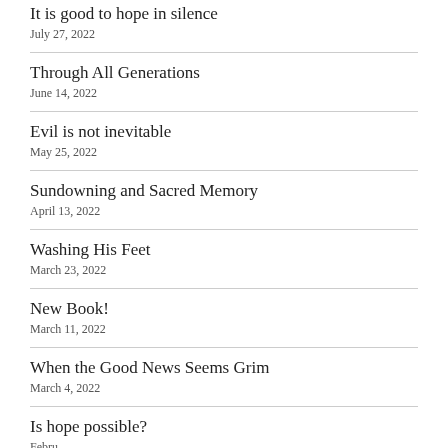It is good to hope in silence
July 27, 2022
Through All Generations
June 14, 2022
Evil is not inevitable
May 25, 2022
Sundowning and Sacred Memory
April 13, 2022
Washing His Feet
March 23, 2022
New Book!
March 11, 2022
When the Good News Seems Grim
March 4, 2022
Is hope possible?
February 2022